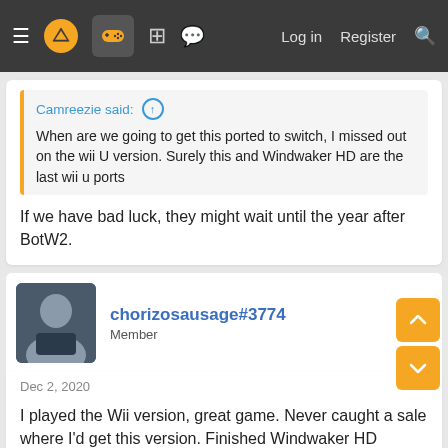[Figure (screenshot): Forum navigation bar with hamburger menu, logo, controller icon, grid icon, chat icon, and Log in / Register / Search links]
Camreezie said: ↑
When are we going to get this ported to switch, I missed out on the wii U version. Surely this and Windwaker HD are the last wii u ports
If we have bad luck, they might wait until the year after BotW2.
chorizosausage#3774
Member
Dec 2, 2020
I played the Wii version, great game. Never caught a sale where I'd get this version. Finished Windwaker HD though.